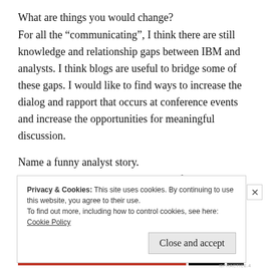What are things you would change?
For all the “communicating”, I think there are still knowledge and relationship gaps between IBM and analysts. I think blogs are useful to bridge some of these gaps. I would like to find ways to increase the dialog and rapport that occurs at conference events and increase the opportunities for meaningful discussion.
Name a funny analyst story.
About a year ago, IBM AR had a conference call with
Privacy & Cookies: This site uses cookies. By continuing to use this website, you agree to their use.
To find out more, including how to control cookies, see here: Cookie Policy
Close and accept